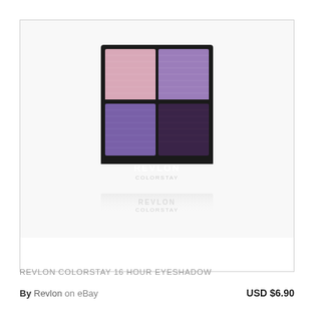[Figure (photo): Revlon ColorStay 16 Hour Eyeshadow quad palette with four purple/pink shades in a black compact, with a reflection visible below the product]
REVLON COLORSTAY 16 HOUR EYESHADOW
By Revlon on eBay
USD $6.90